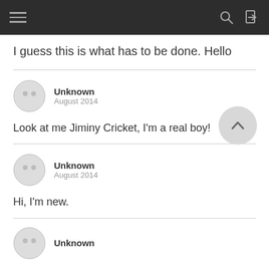Navigation bar with hamburger menu, search, and login icons
I guess this is what has to be done. Hello
Unknown
August 2014

Look at me Jiminy Cricket, I'm a real boy!
Unknown
August 2014

Hi, I'm new.